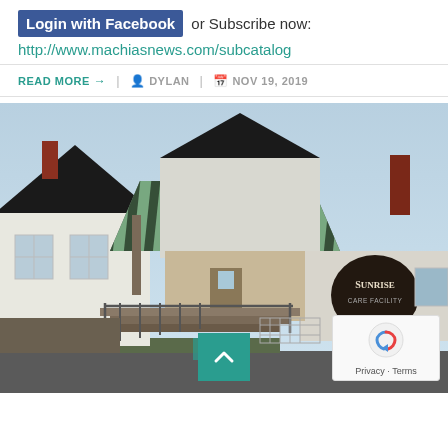Login with Facebook or Subscribe now: http://www.machiasnews.com/subcatalog
READ MORE → | DYLAN | NOV 19, 2019
[Figure (photo): Exterior photograph of Sunrise Care Facility, a white building with a green striped metal roof and an entrance portico with stairs and ramp. A sign reading 'Sunrise Care Facility' is visible on the wall. Other older white buildings are visible to the left.]